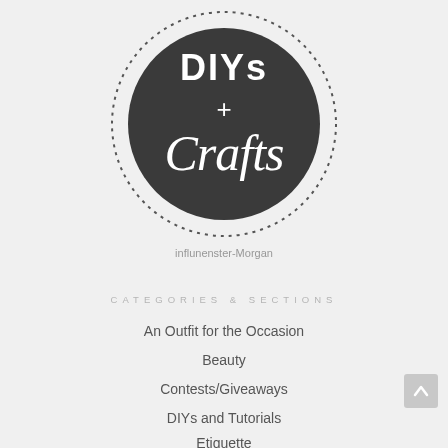[Figure (logo): Circular logo badge with dark charcoal background and dotted border. Contains text 'DIYs + Crafts' in white — 'DIYs' in bold sans-serif, '+' as a symbol, and 'Crafts' in a handwritten/script style.]
[Figure (other): Broken image placeholder with alt text 'influnenster-Morgan']
CATEGORIES & SECTIONS
An Outfit for the Occasion
Beauty
Contests/Giveaways
DIYs and Tutorials
Etiquette